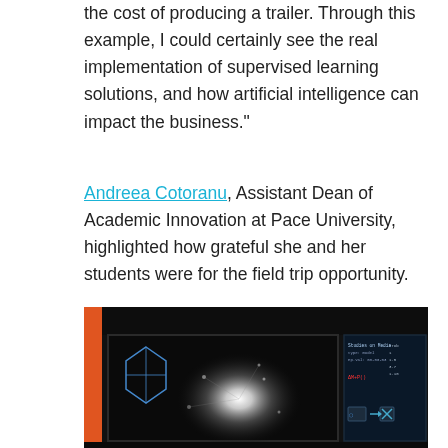automatically, within one day. This approach cut the cost of producing a trailer. Through this example, I could certainly see the real implementation of supervised learning solutions, and how artificial intelligence can impact the business."
Andreea Cotoranu, Assistant Dean of Academic Innovation at Pace University, highlighted how grateful she and her students were for the field trip opportunity.
[Figure (photo): A dark room with multiple monitors/screens showing a central bright burst of light surrounded by network nodes, a geometric diamond/hexagon outline on the left screen, and a dark blue data interface screen on the right with text and a formula highlighted in red.]